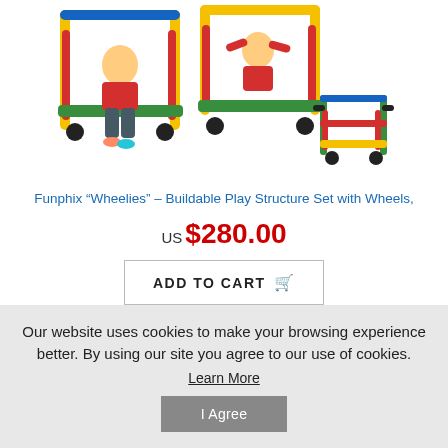[Figure (photo): Children playing with colorful Funphix Wheelies buildable play structure set with wheels. Shows kids sitting in/on colorful red, yellow, green and blue tube frame structures on casters. A smaller assembled structure appears in the foreground right.]
Funphix “Wheelies” – Buildable Play Structure Set with Wheels,
US $280.00
ADD TO CART
Our website uses cookies to make your browsing experience better. By using our site you agree to our use of cookies.
Learn More
I Agree